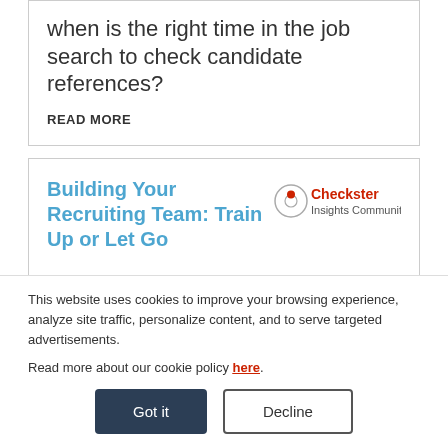when is the right time in the job search to check candidate references?
READ MORE
Building Your Recruiting Team: Train Up or Let Go
[Figure (logo): Checkster Insights Community logo]
Brenda Tern
Udemy
Portland
Melisa Medrano
NGM
Biopharmaceuticals
This website uses cookies to improve your browsing experience, analyze site traffic, personalize content, and to serve targeted advertisements.
Read more about our cookie policy here.